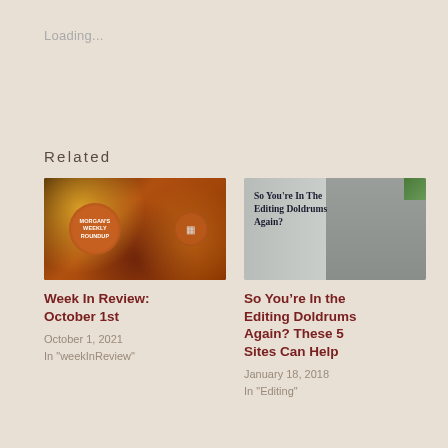Loading...
Related
[Figure (photo): Thumbnail for Morgan's Weekly Roundup post showing circular badge with text MORGAN'S WEEKLY ROUNDUP on bokeh background]
Week In Review: October 1st
October 1, 2021
In "weekInReview"
[Figure (photo): Thumbnail showing a woman pointing to text that reads So You're In The Editing Doldrums Again?]
So You’re In the Editing Doldrums Again? These 5 Sites Can Help
January 18, 2018
In "Editing"